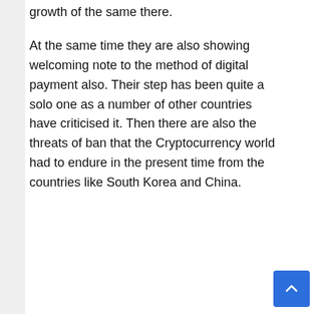growth of the same there.
At the same time they are also showing welcoming note to the method of digital payment also. Their step has been quite a solo one as a number of other countries have criticised it. Then there are also the threats of ban that the Cryptocurrency world had to endure in the present time from the countries like South Korea and China.